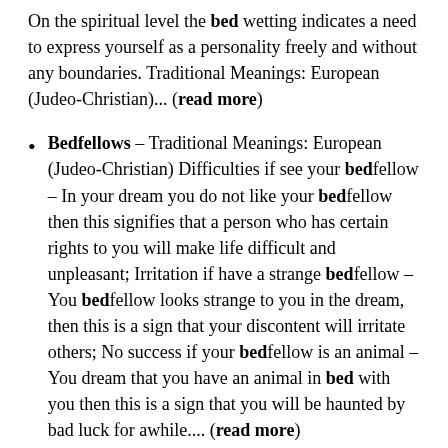On the spiritual level the bed wetting indicates a need to express yourself as a personality freely and without any boundaries. Traditional Meanings: European (Judeo-Christian)... (read more)
Bedfellows – Traditional Meanings: European (Judeo-Christian) Difficulties if see your bedfellow – In your dream you do not like your bedfellow then this signifies that a person who has certain rights to you will make life difficult and unpleasant; Irritation if have a strange bedfellow – You bedfellow looks strange to you in the dream, then this is a sign that your discontent will irritate others; No success if your bedfellow is an animal – You dream that you have an animal in bed with you then this is a sign that you will be haunted by bad luck for awhile.... (read more)
Bedding – Psychological Meanings: From positive